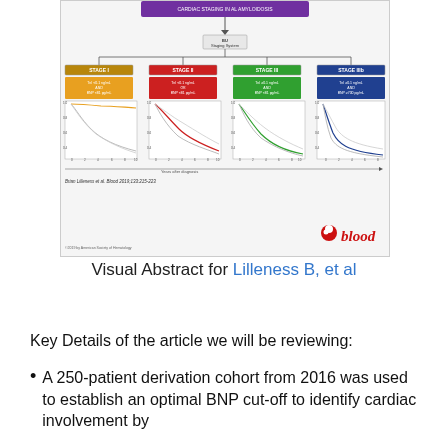[Figure (infographic): Visual abstract from Blood journal showing a staging system (Stage I, II, III, IIIb) for cardiac involvement based on TnI and BNP cutoffs, with Kaplan-Meier survival curves for each stage. Attribution: Brian Lilleness et al. Blood 2019;133:215-223.]
Visual Abstract for Lilleness B, et al
Key Details of the article we will be reviewing:
A 250-patient derivation cohort from 2016 was used to establish an optimal BNP cut-off to identify cardiac involvement by